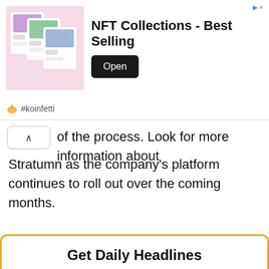[Figure (screenshot): Advertisement banner for 'NFT Collections - Best Selling' app by #koinfetti with Open button and app store imagery]
of the process. Look for more information about Stratumn as the company's platform continues to roll out over the coming months.
Get Daily Headlines
Enter Best Email to Get Trending Crypto News & Bitcoin Market Updates
Place Your E-mail Here